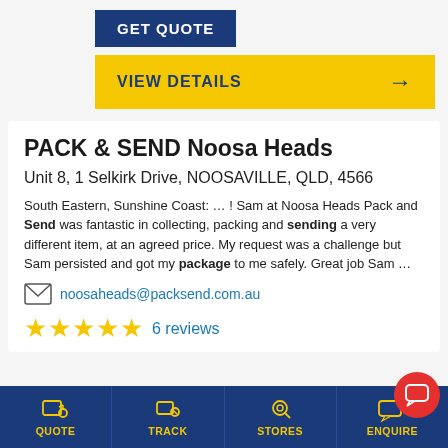GET QUOTE
VIEW DETAILS →
PACK & SEND Noosa Heads
Unit 8, 1 Selkirk Drive, NOOSAVILLE, QLD, 4566
South Eastern, Sunshine Coast: … ! Sam at Noosa Heads Pack and Send was fantastic in collecting, packing and sending a very different item, at an agreed price. My request was a challenge but Sam persisted and got my package to me safely. Great job Sam …
noosaheads@packsend.com.au
6 reviews
QUOTE  TRACK  STORES  ENQUIRE